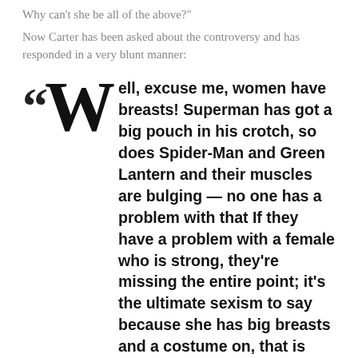Why can't she be all of the above?"
Now Carter has been asked about the controversy and has responded in a very blunt manner:
"Well, excuse me, women have breasts!  Superman has got a big pouch in his crotch, so does Spider-Man and Green Lantern and their muscles are bulging — no one has a problem with that If they have a problem with a female who is strong, they're missing the entire point; it's the ultimate sexism to say because she has big breasts and a costume on, that is what you think represents her and who she is. Women do have breasts and women can defend themselves and fight back. Wonder Woman is about telling the truth."